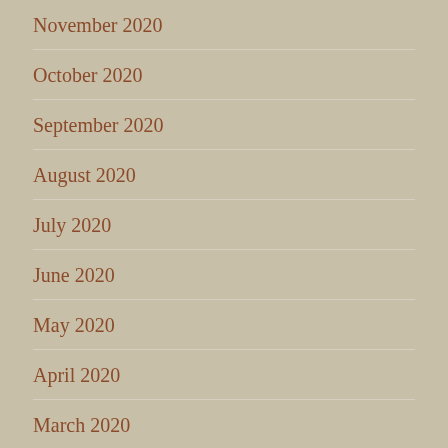November 2020
October 2020
September 2020
August 2020
July 2020
June 2020
May 2020
April 2020
March 2020